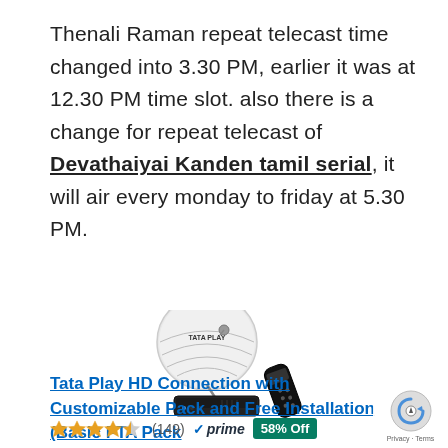Thenali Raman repeat telecast time changed into 3.30 PM, earlier it was at 12.30 PM time slot. also there is a change for repeat telecast of Devathaiyai Kanden tamil serial, it will air every monday to friday at 5.30 PM.
[Figure (photo): Tata Play HD set-top box with satellite dish and remote control]
Tata Play HD Connection with Customizable Pack and Free Installation (Basic FTA Pack...
★★★★☆ (149) ✓prime 58% Off